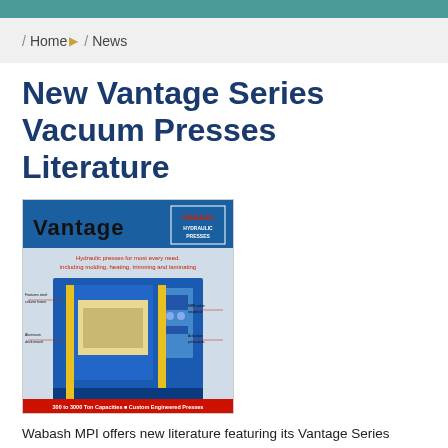/ Home ▶ / News
New Vantage Series Vacuum Presses Literature
[Figure (photo): Wabash MPI Vantage Series hydraulic press brochure cover and engineering diagram showing labeled components of a blue hydraulic vacuum press, with text 'Hydraulic presses for most every need, including molding, heating, trimming and laminating' and '300 to 3000 Ton Capacities | Custom Engineered Presses']
Wabash MPI offers new literature featuring its Vantage Series Vacuum chamber molding and laminating presses. The literature